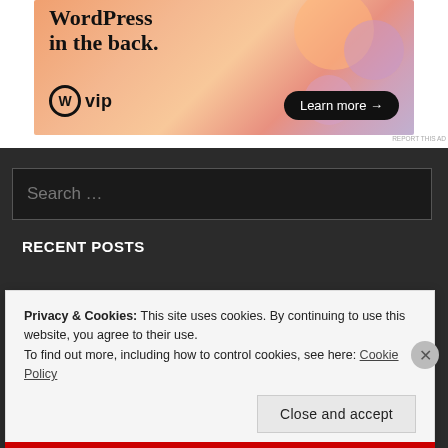[Figure (illustration): WordPress VIP advertisement banner with orange/pink gradient background, bold text 'WordPress in the back.', WordPress logo with 'vip' text, and 'Learn more →' button]
REPORT THIS AD
Search ...
RECENT POSTS
Privacy & Cookies: This site uses cookies. By continuing to use this website, you agree to their use.
To find out more, including how to control cookies, see here: Cookie Policy
Close and accept